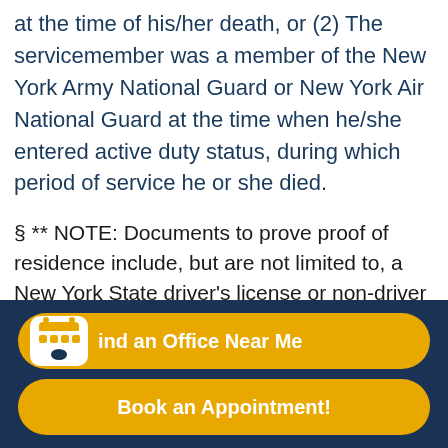at the time of his/her death, or (2) The servicemember was a member of the New York Army National Guard or New York Air National Guard at the time when he/she entered active duty status, during which period of service he or she died.
§  ** NOTE: Documents to prove proof of residence include, but are not limited to, a New York State driver's license or non-driver ID card; a voter registration notification card; a current utility bill (such as water, electricity, trash collection, cable TV, etc.) listing the applicant's name and address; a residential lease issued within one year of the current date; a
Find an Office Near Me
Book an Appointment!